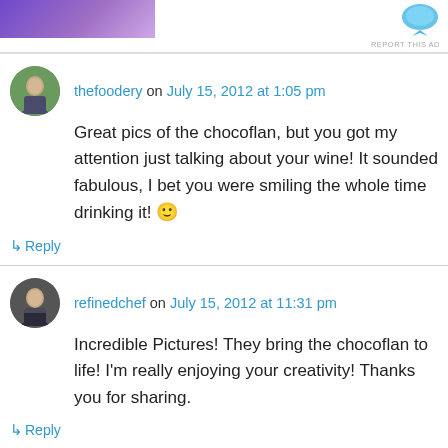[Figure (other): Advertisement banner with purple/violet gradient on left side and a blue icon on the right, with 'REPORT THIS AD' text]
thefoodery on July 15, 2012 at 1:05 pm
Great pics of the chocoflan, but you got my attention just talking about your wine! It sounded fabulous, I bet you were smiling the whole time drinking it! 🙂
↳ Reply
refinedchef on July 15, 2012 at 11:31 pm
Incredible Pictures! They bring the chocoflan to life! I'm really enjoying your creativity! Thanks you for sharing.
↳ Reply